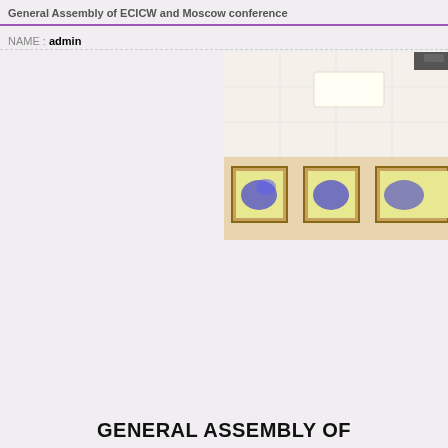General Assembly of ECICW and Moscow conference
NAME : admin
[Figure (photo): Interior room photo showing a ceiling with recessed lighting and framed artwork/paintings on a beige wall]
GENERAL ASSEMBLY OF